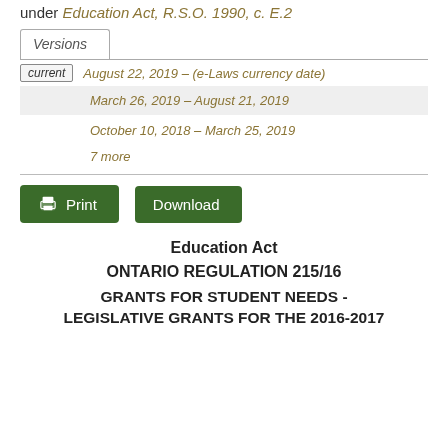under Education Act, R.S.O. 1990, c. E.2
Versions
current  August 22, 2019 – (e-Laws currency date)
March 26, 2019 – August 21, 2019
October 10, 2018 – March 25, 2019
7 more
Print   Download
Education Act
ONTARIO REGULATION 215/16
GRANTS FOR STUDENT NEEDS - LEGISLATIVE GRANTS FOR THE 2016-2017